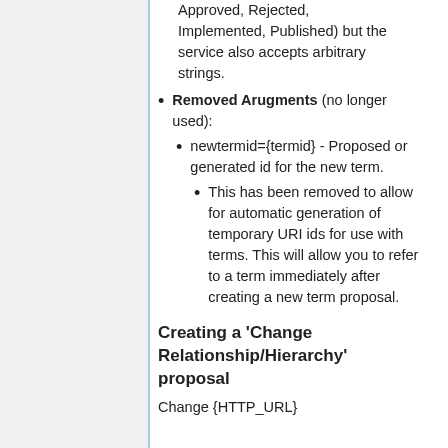Approved, Rejected, Implemented, Published) but the service also accepts arbitrary strings.
Removed Arugments (no longer used):
newtermid={termid} - Proposed or generated id for the new term.
This has been removed to allow for automatic generation of temporary URI ids for use with terms. This will allow you to refer to a term immediately after creating a new term proposal.
Creating a 'Change Relationship/Hierarchy' proposal
Change {HTTP_URL}